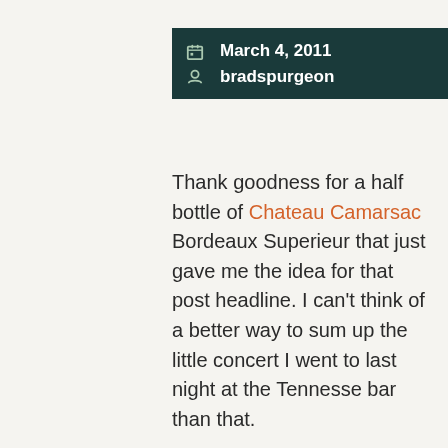March 4, 2011 | bradspurgeon
Thank goodness for a half bottle of Chateau Camarsac Bordeaux Superieur that just gave me the idea for that post headline. I can't think of a better way to sum up the little concert I went to last night at the Tennesse bar than that.
I am in the habit of going to the open mics at The Highlander bar and the Tennessee bar – especially during the F1 off-season – as readers of this blog will have noticed. And at the Tennessee I sometimes see this guy